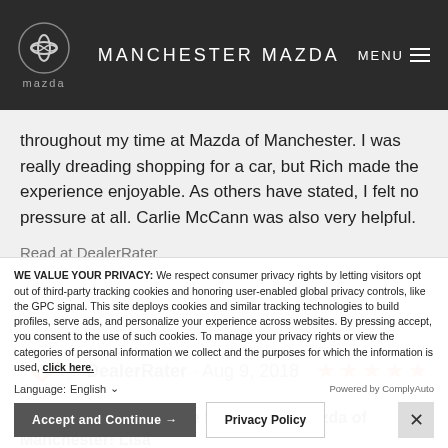Manchester Mazda
throughout my time at Mazda of Manchester. I was really dreading shopping for a car, but Rich made the experience enjoyable. As others have stated, I felt no pressure at all. Carlie McCann was also very helpful.
Read at DealerRater
DealerRater - Aug 9, 2018 ★★★★★
This is our third vehicle leased from Mazda of Manchester! Lisa
WE VALUE YOUR PRIVACY: We respect consumer privacy rights by letting visitors opt out of third-party tracking cookies and honoring user-enabled global privacy controls, like the GPC signal. This site deploys cookies and similar tracking technologies to build profiles, serve ads, and personalize your experience across websites. By pressing accept, you consent to the use of such cookies. To manage your privacy rights or view the categories of personal information we collect and the purposes for which the information is used, click here.
Language: English ∨ Powered by ComplyAuto
Accept and Continue → | Privacy Policy | ×